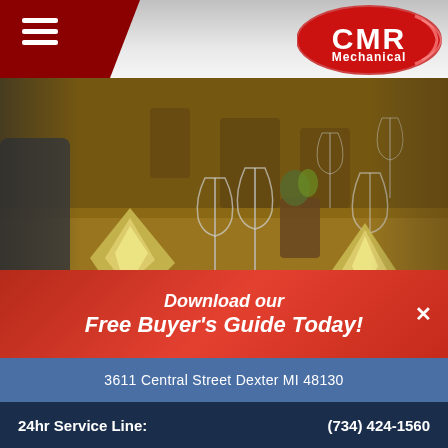CMR Mechanical
[Figure (photo): Restaurant dining table elegantly set with folded napkins, wine glasses, and tableware in a warm-lit restaurant setting]
Do you own or are you in charge of business operations for a busy restaurant? Are you trying to cut down your energy costs? According to the U.S. Department of Energy's ENERGY STAR program, "high-volume, quick-
[Figure (infographic): Red CTA popup banner: Download our Free Buyer's Guide Today!]
3611 Central Street Dexter MI 48130
24hr Service Line: (734) 424-1560